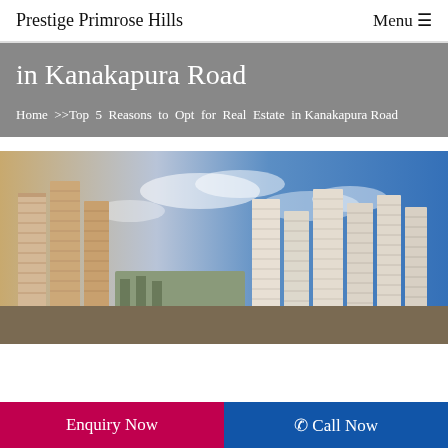Prestige Primrose Hills   Menu ☰
in Kanakapura Road
Home >>Top 5 Reasons to Opt for Real Estate in Kanakapura Road
[Figure (photo): Exterior rendering of Prestige Primrose Hills residential towers against a blue sky with clouds]
Enquiry Now
☎ Call Now